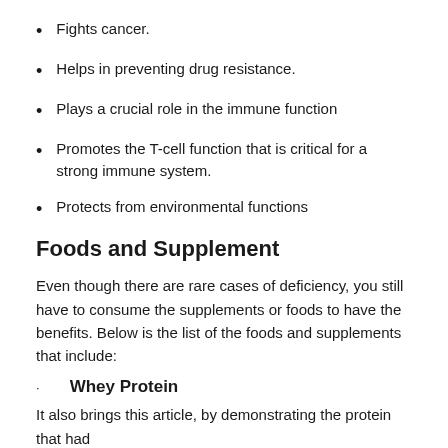Fights cancer.
Helps in preventing drug resistance.
Plays a crucial role in the immune function
Promotes the T-cell function that is critical for a strong immune system.
Protects from environmental functions
Foods and Supplement
Even though there are rare cases of deficiency, you still have to consume the supplements or foods to have the benefits. Below is the list of the foods and supplements that include:
Whey Protein
It also brings this article, by demonstrating the protein that had...